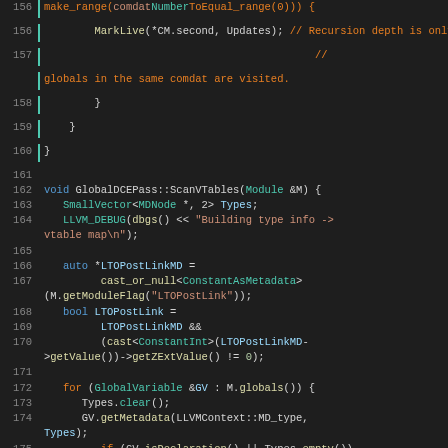[Figure (screenshot): Source code listing in a dark-themed code editor showing C++ code for GlobalDCEPass::ScanVTables function, lines 156-181, with syntax highlighting in orange, teal, blue, and white.]